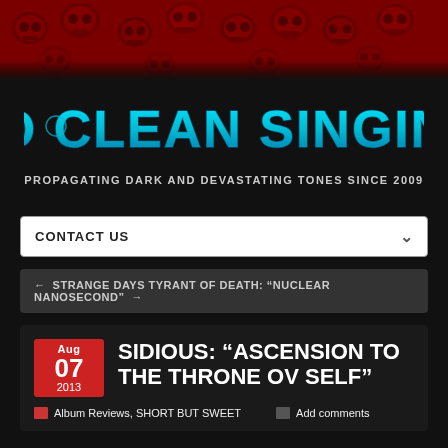[Figure (illustration): Red background banner with dark skull pattern tiling across the top of the page]
[Figure (logo): No Clean Singing logo in teal/cyan metal-style dripping font on black background]
PROPAGATING DARK AND DEVASTATING TONES SINCE 2009
CONTACT US
← STRANGE DAYS TYRANT OF DEATH: “NUCLEAR NANOSECOND” →
SIDIOUS: “ASCENSION TO THE THRONE OV SELF”
Aug 07 2013
Album Reviews, SHORT BUT SWEET   Add comments